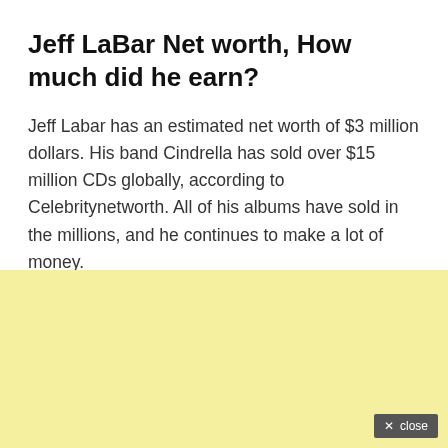Jeff LaBar Net worth, How much did he earn?
Jeff Labar has an estimated net worth of $3 million dollars. His band Cindrella has sold over $15 million CDs globally, according to Celebritynetworth. All of his albums have sold in the millions, and he continues to make a lot of money.